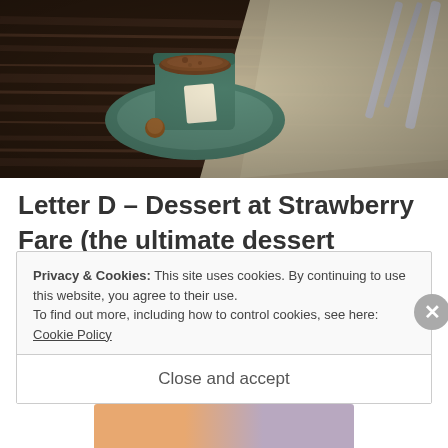[Figure (photo): Photo of a coffee cup on a dark green saucer with a napkin, placed on a dark wooden table. Cutlery visible in the background.]
Letter D – Dessert at Strawberry Fare (the ultimate dessert restaurant)
Privacy & Cookies: This site uses cookies. By continuing to use this website, you agree to their use.
To find out more, including how to control cookies, see here: Cookie Policy
Close and accept